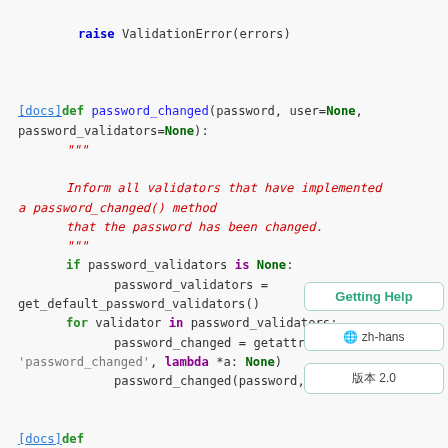raise ValidationError(errors)

[docs]def password_changed(password, user=None,
password_validators=None):
    """
    Inform all validators that have implemented
    a password_changed() method
    that the password has been changed.
    """
    if password_validators is None:
        password_validators =
get_default_password_validators()
        for validator in password_validators:
            password_changed = getattr(val...
'password_changed', lambda *a: None)
            password_changed(password, use...

[docs]def
Getting Help
简体 zh-hans
版本 2.0